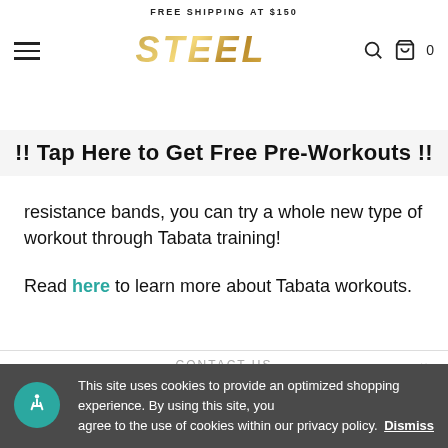FREE SHIPPING AT $150
[Figure (logo): Steel Supplements logo in gold italic stylized text]
!! Tap Here to Get Free Pre-Workouts !!
resistance bands, you can try a whole new type of workout through Tabata training!
Read here to learn more about Tabata workouts.
CONTACT US
This site uses cookies to provide an optimized shopping experience. By using this site, you agree to the use of cookies within our privacy policy. Dismiss